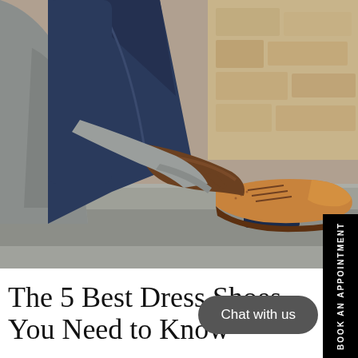[Figure (photo): A man in a grey blazer and dark blue jeans sitting on a stone ledge, putting on or adjusting a tan leather brogue dress shoe with navy blue sock visible. Stone wall background.]
The 5 Best Dress Shoes You Need to Know